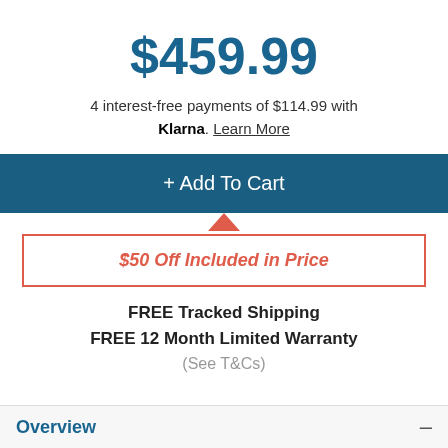$459.99
4 interest-free payments of $114.99 with Klarna. Learn More
+ Add To Cart
$50 Off Included in Price
FREE Tracked Shipping
FREE 12 Month Limited Warranty
(See T&Cs)
Overview